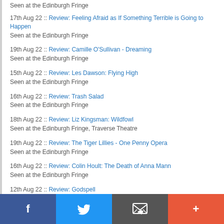Seen at the Edinburgh Fringe
17th Aug 22 :: Review: Feeling Afraid as If Something Terrible is Going to Happen
Seen at the Edinburgh Fringe
19th Aug 22 :: Review: Camille O'Sullivan - Dreaming
Seen at the Edinburgh Fringe
15th Aug 22 :: Review: Les Dawson: Flying High
Seen at the Edinburgh Fringe
16th Aug 22 :: Review: Trash Salad
Seen at the Edinburgh Fringe
18th Aug 22 :: Review: Liz Kingsman: Wildfowl
Seen at the Edinburgh Fringe, Traverse Theatre
19th Aug 22 :: Review: The Tiger Lillies - One Penny Opera
Seen at the Edinburgh Fringe
16th Aug 22 :: Review: Colin Hoult: The Death of Anna Mann
Seen at the Edinburgh Fringe
12th Aug 22 :: Review: Godspell
Seen at the Edinburgh Fringe
f  Twitter  Email  +